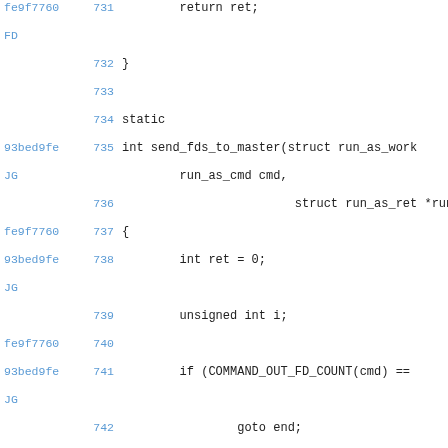fe9f7760 731   return ret;
FD
         732   }
         733
         734   static
93bed9fe 735   int send_fds_to_master(struct run_as_work
JG           run_as_cmd cmd,
         736                   struct run_as_ret *run_as
fe9f7760 737   {
93bed9fe 738           int ret = 0;
JG
         739           unsigned int i;
fe9f7760 740
93bed9fe 741           if (COMMAND_OUT_FD_COUNT(cmd) ==
JG
         742                   goto end;
fe9f7760 743           }
FD
         744
93bed9fe 745           ret = do_send_fds(worker->sockpai